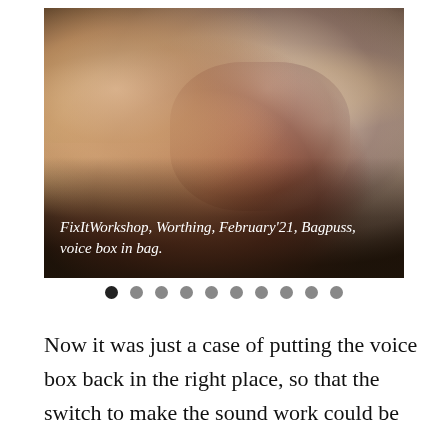[Figure (photo): Hands working on a stuffed animal toy (Bagpuss), showing a voice box mechanism being placed inside the bag/body of the toy. The toy is fluffy with pink and cream stripes. There is a dark background. Caption overlay reads: FixItWorkshop, Worthing, February'21, Bagpuss, voice box in bag.]
FixItWorkshop, Worthing, February'21, Bagpuss, voice box in bag.
Now it was just a case of putting the voice box back in the right place, so that the switch to make the sound work could be